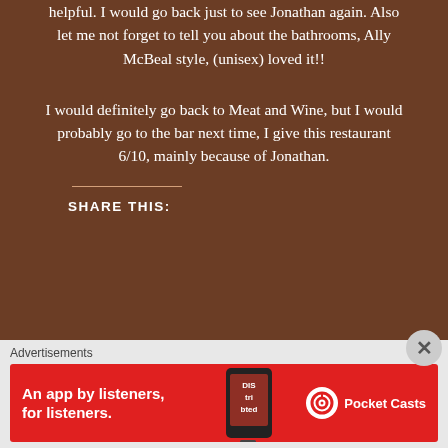helpful. I would go back just to see Jonathan again. Also let me not forget to tell you about the bathrooms, Ally McBeal style, (unisex) loved it!!
I would definitely go back to Meat and Wine, but I would probably go to the bar next time, I give this restaurant 6/10, mainly because of Jonathan.
SHARE THIS:
Advertisements
[Figure (other): Red advertisement banner for Pocket Casts app: 'An app by listeners, for listeners.' with Pocket Casts logo and a phone image showing 'Distributed']